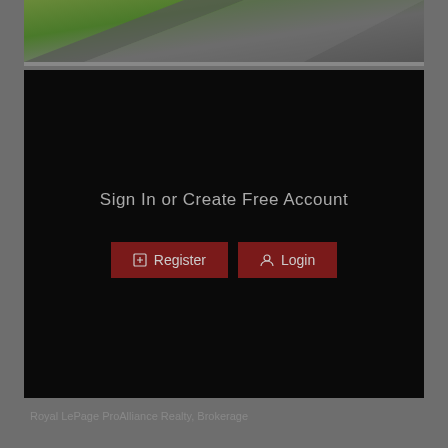[Figure (photo): Partial view of a rooftop or road surface with dark gray and green tones, cropped at top of page]
Sign In or Create Free Account
Register
Login
Royal LePage ProAlliance Realty, Brokerage